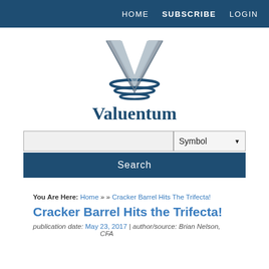HOME  SUBSCRIBE  LOGIN
[Figure (logo): Valuentum logo: large silver V letterform with blue horizontal wave lines beneath it]
Valuentum
Symbol  Search
You Are Here: Home » » Cracker Barrel Hits The Trifecta!
Cracker Barrel Hits the Trifecta!
publication date: May 23, 2017  |  author/source: Brian Nelson, CFA